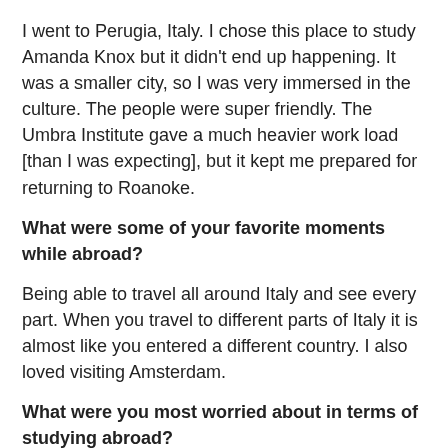I went to Perugia, Italy. I chose this place to study Amanda Knox but it didn't end up happening. It was a smaller city, so I was very immersed in the culture. The people were super friendly. The Umbra Institute gave a much heavier work load [than I was expecting], but it kept me prepared for returning to Roanoke.
What were some of your favorite moments while abroad?
Being able to travel all around Italy and see every part. When you travel to different parts of Italy it is almost like you entered a different country. I also loved visiting Amsterdam.
What were you most worried about in terms of studying abroad?
Being able to go all the places I wanted while still handling the work load.